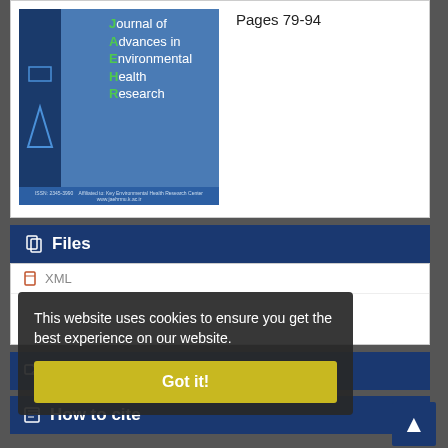[Figure (illustration): Journal cover for Journal of Advances in Environmental Health Research (JAHR) showing a blue cover with the journal name and logo]
Pages 79-94
Files
XML
This website uses cookies to ensure you get the best experience on our website.
Share
How to cite